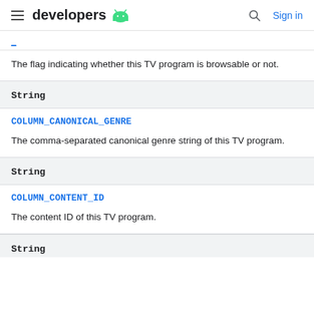developers (Android logo) | Search | Sign in
The flag indicating whether this TV program is browsable or not.
String
COLUMN_CANONICAL_GENRE
The comma-separated canonical genre string of this TV program.
String
COLUMN_CONTENT_ID
The content ID of this TV program.
String